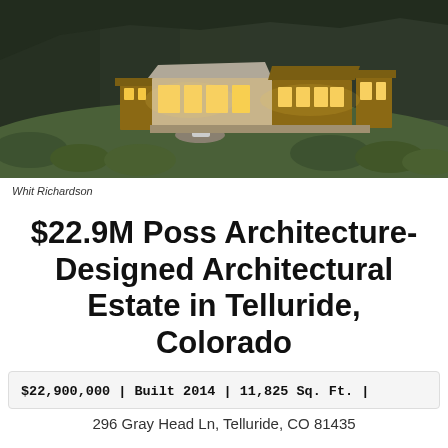[Figure (photo): Aerial/elevated dusk photograph of a large modern architectural estate nestled on a hillside amid dense forest and shrubs. The home features wooden and stone materials with large windows glowing warmly. Mountains and trees form the backdrop.]
Whit Richardson
$22.9M Poss Architecture-Designed Architectural Estate in Telluride, Colorado
$22,900,000 | Built 2014 | 11,825 Sq. Ft. |
296 Gray Head Ln, Telluride, CO 81435